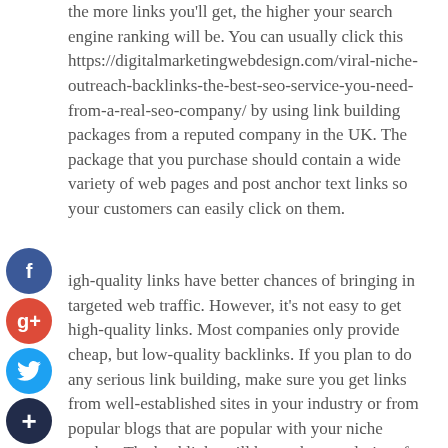the more links you'll get, the higher your search engine ranking will be. You can usually click this https://digitalmarketingwebdesign.com/viral-niche-outreach-backlinks-the-best-seo-service-you-need-from-a-real-seo-company/ by using link building packages from a reputed company in the UK. The package that you purchase should contain a wide variety of web pages and post anchor text links so your customers can easily click on them.
High-quality links have better chances of bringing in targeted web traffic. However, it's not easy to get high-quality links. Most companies only provide cheap, but low-quality backlinks. If you plan to do any serious link building, make sure you get links from well-established sites in your industry or from popular blogs that are popular with your niche market. The backlinks will boost the popularity of your web site which will help in increasing your business profits.